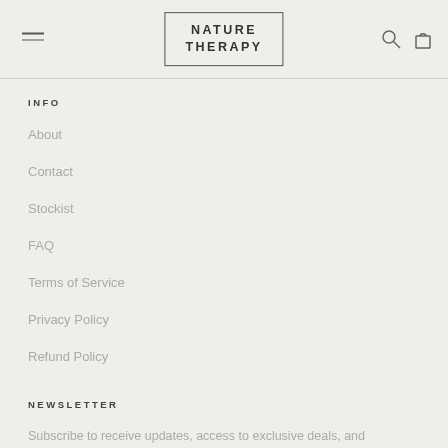NATURE THERAPY
INFO
About
Contact
Stockist
FAQ
Terms of Service
Privacy Policy
Refund Policy
NEWSLETTER
Subscribe to receive updates, access to exclusive deals, and